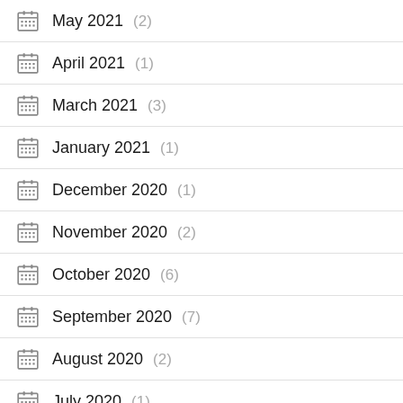May 2021 (2)
April 2021 (1)
March 2021 (3)
January 2021 (1)
December 2020 (1)
November 2020 (2)
October 2020 (6)
September 2020 (7)
August 2020 (2)
July 2020 (1)